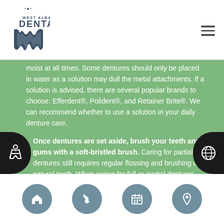[Figure (logo): West Albany Dental logo with tooth/W icon and text]
moist at all times. Some dentures should only be placed in water as a solution may dull the metal attachments. If a solution is advised, there are several popular brands to choose: Efferdent®, Polident®, and Retainer Brite®. We can recommend whether to use a solution in your daily denture care.
4. Once dentures are set aside, brush your teeth and gums with a soft-bristled brush. Caring for partial dentures still requires regular flossing and brushing of natural teeth. When caring for full or partial dentures, brushing your gums and tongue stimulates circulation; this is especially important to do after affixing your dentures in the morning.